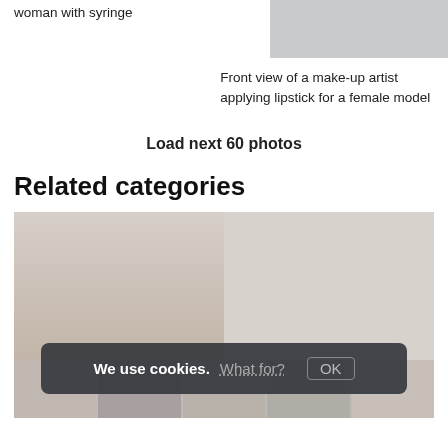woman with syringe
[Figure (photo): Photo thumbnail of woman in black top]
Front view of a make-up artist applying lipstick for a female model
Load next 60 photos
Related categories
[Figure (photo): Gallery of related category photos showing blonde woman posing]
[Figure (photo): Bottom row of related category thumbnails]
We use cookies. What for? OK